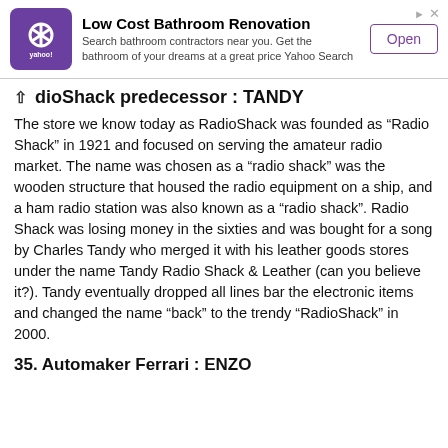[Figure (other): Yahoo advertisement banner for Low Cost Bathroom Renovation with Yahoo logo, subtitle text, and Open button]
dioShack predecessor : TANDY
The store we know today as RadioShack was founded as “Radio Shack” in 1921 and focused on serving the amateur radio market. The name was chosen as a “radio shack” was the wooden structure that housed the radio equipment on a ship, and a ham radio station was also known as a “radio shack”. Radio Shack was losing money in the sixties and was bought for a song by Charles Tandy who merged it with his leather goods stores under the name Tandy Radio Shack & Leather (can you believe it?). Tandy eventually dropped all lines bar the electronic items and changed the name “back” to the trendy “RadioShack” in 2000.
35. Automaker Ferrari : ENZO